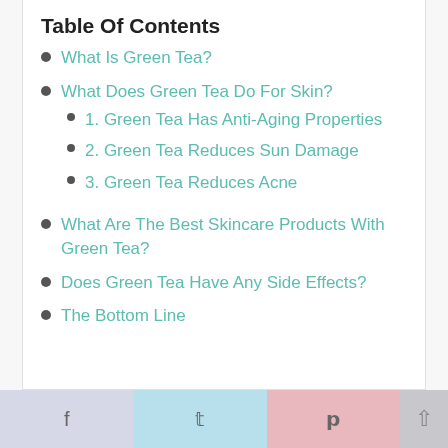Table Of Contents
What Is Green Tea?
What Does Green Tea Do For Skin?
1. Green Tea Has Anti-Aging Properties
2. Green Tea Reduces Sun Damage
3. Green Tea Reduces Acne
What Are The Best Skincare Products With Green Tea?
Does Green Tea Have Any Side Effects?
The Bottom Line
f  t  p  ↑